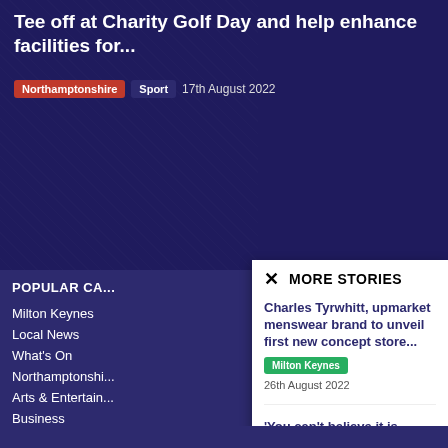Tee off at Charity Golf Day and help enhance facilities for...
Northamptonshire | Sport | 17th August 2022
POPULAR CA...
Milton Keynes
Local News
What's On
Northamptonshir...
Arts & Entertain...
Business
Food & Drink
MORE STORIES
Charles Tyrwhitt, upmarket menswear brand to unveil first new concept store...
Milton Keynes | 26th August 2022
'You can't believe it is happening to you'
Northamptonshire | Feature | 17th August 2022